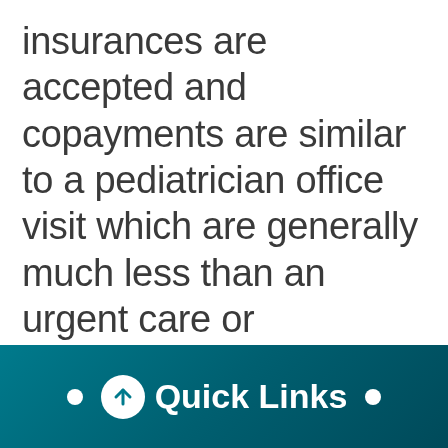insurances are accepted and copayments are similar to a pediatrician office visit which are generally much less than an urgent care or emergency department
[Figure (infographic): Teal/dark teal gradient footer bar with a white bullet dot on the left, a white circle containing an upward arrow icon, the bold white text 'Quick Links', and a white bullet dot on the right.]